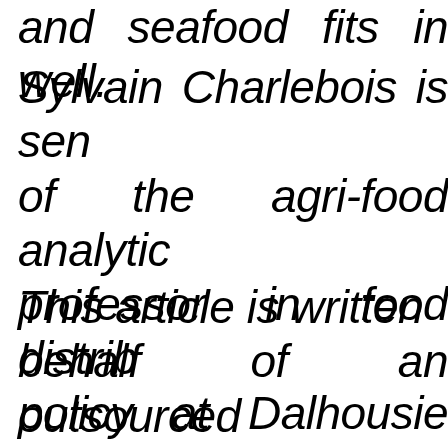and seafood fits in well.
Sylvain Charlebois is senior director of the agri-food analytics lab and professor in food distribution and policy at Dalhousie University.
This article is written on behalf of an outsourced entity and does not necessarily reflect the views of Castanet.